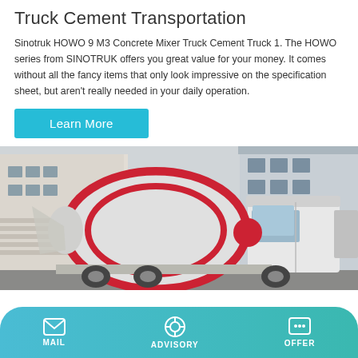Truck Cement Transportation
Sinotruk HOWO 9 M3 Concrete Mixer Truck Cement Truck 1. The HOWO series from SINOTRUK offers you great value for your money. It comes without all the fancy items that only look impressive on the specification sheet, but aren't really needed in your daily operation.
Learn More
[Figure (photo): Photo of a white Sinotruk HOWO concrete mixer truck with red stripe markings on the mixing drum, parked in front of a building]
MAIL   ADVISORY   OFFER